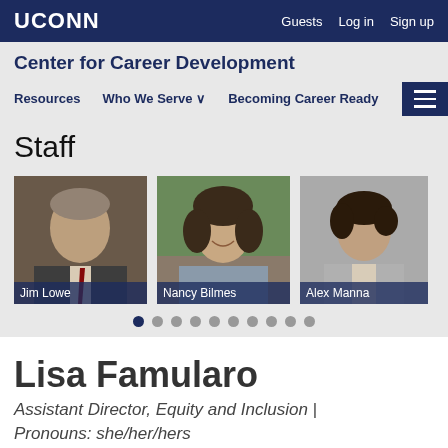UCONN | Guests  Log in  Sign up
Center for Career Development
Resources  Who We Serve  Becoming Career Ready
Staff
[Figure (photo): Three staff member portrait photos: Jim Lowe, Nancy Bilmes, Alex Manna, with nine pagination dots below]
Lisa Famularo
Assistant Director, Equity and Inclusion | Pronouns: she/her/hers